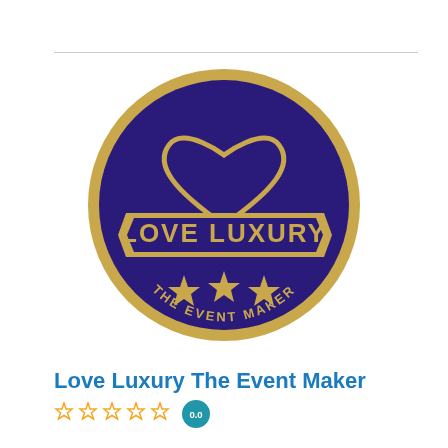[Figure (logo): Love Luxury The Event Maker circular logo: dark purple/navy circle with gold border, gold heart outline at top, a gold banner across the middle with 'LOVE LUXURY' in purple text, three gold stars below the banner, and 'THE EVENT MAKER' text curved along the bottom in gold.]
Love Luxury The Event Maker
☆☆☆☆☆ 0.0